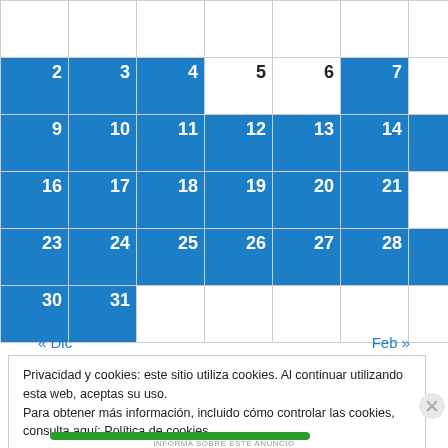|  |  |  |  |  |  |  |
| --- | --- | --- | --- | --- | --- | --- |
|  |  |  |  |  |  | 1 |
| 2 | 3 | 4 | 5 | 6 | 7 | 8 |
| 9 | 10 | 11 | 12 | 13 | 14 | 15 |
| 16 | 17 | 18 | 19 | 20 | 21 | 22 |
| 23 | 24 | 25 | 26 | 27 | 28 | 29 |
| 30 | 31 |  |  |  |  |  |
« Dic    Feb »
Privacidad y cookies: este sitio utiliza cookies. Al continuar utilizando esta web, aceptas su uso.
Para obtener más información, incluido cómo controlar las cookies, consulta aquí: Política de cookies
Cerrar y aceptar